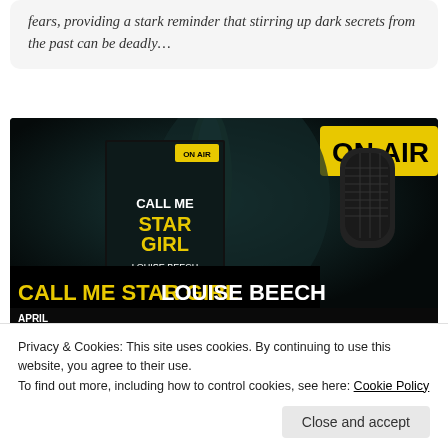fears, providing a stark reminder that stirring up dark secrets from the past can be deadly…
[Figure (photo): Blog tour promotional image for 'Call Me Star Girl' by Louise Beech, featuring a dark atmospheric photo with a person's face and finger near lips, a microphone, an 'ON AIR' sign in yellow, the book cover, and text '#BlogTour', 'CALL ME STAR GIRL LOUISE BEECH', 'APRIL' with blogger names listed.]
Privacy & Cookies: This site uses cookies. By continuing to use this website, you agree to their use.
To find out more, including how to control cookies, see here: Cookie Policy
Close and accept